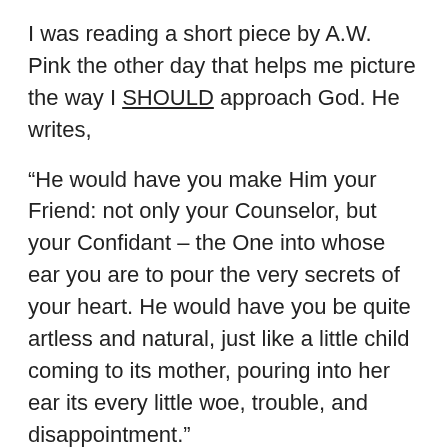I was reading a short piece by A.W. Pink the other day that helps me picture the way I SHOULD approach God. He writes,
“He would have you make Him your Friend: not only your Counselor, but your Confidant – the One into whose ear you are to pour the very secrets of your heart. He would have you be quite artless and natural, just like a little child coming to its mother, pouring into her ear its every little woe, trouble, and disappointment.”
I remember those days, long before the defiant rants came on, when every one of my children would climb up in my lap and lay their head down and tell me their troubles.
That’s what Jesus wants us to do.
If you’ve never tried approaching him this way, what is